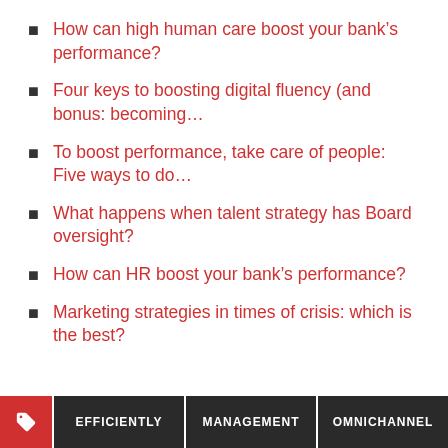How can high human care boost your bank's performance?
Four keys to boosting digital fluency (and bonus: becoming...
To boost performance, take care of people: Five ways to do...
What happens when talent strategy has Board oversight?
How can HR boost your bank's performance?
Marketing strategies in times of crisis: which is the best?
EFFICIENTLY   MANAGEMENT   OMNICHANNEL